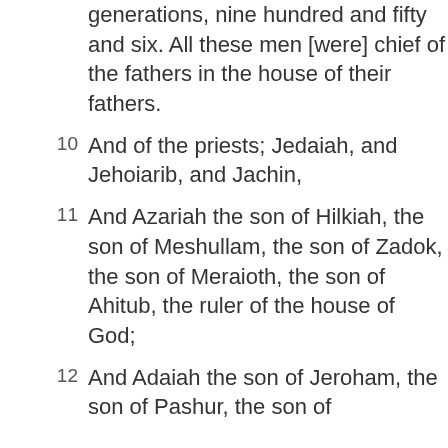generations, nine hundred and fifty and six. All these men [were] chief of the fathers in the house of their fathers.
10 And of the priests; Jedaiah, and Jehoiarib, and Jachin,
11 And Azariah the son of Hilkiah, the son of Meshullam, the son of Zadok, the son of Meraioth, the son of Ahitub, the ruler of the house of God;
12 And Adaiah the son of Jeroham, the son of Pashur, the son of